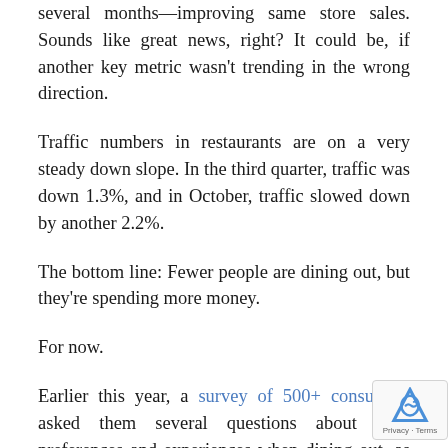several months—improving same store sales. Sounds like great news, right? It could be, if another key metric wasn't trending in the wrong direction.
Traffic numbers in restaurants are on a very steady down slope. In the third quarter, traffic was down 1.3%, and in October, traffic slowed down by another 2.2%.
The bottom line: Fewer people are dining out, but they're spending more money.
For now.
Earlier this year, a survey of 500+ consumers asked them several questions about their preferences and experiences when dining out, as well as how they are making their decisions. The results could restaurant operators adjust their customer expe to help bring more traffic through the door.